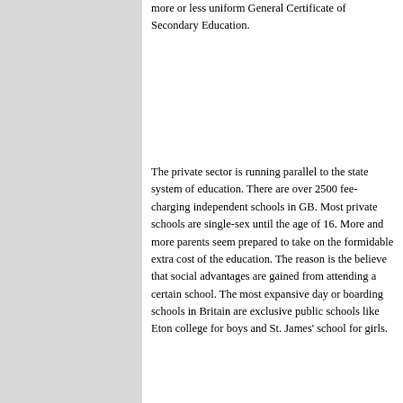more or less uniform General Certificate of Secondary Education.
The private sector is running parallel to the state system of education. There are over 2500 fee-charging independent schools in GB. Most private schools are single-sex until the age of 16. More and more parents seem prepared to take on the formidable extra cost of the education. The reason is the believe that social advantages are gained from attending a certain school. The most expansive day or boarding schools in Britain are exclusive public schools like Eton college for boys and St. James' school for girls.